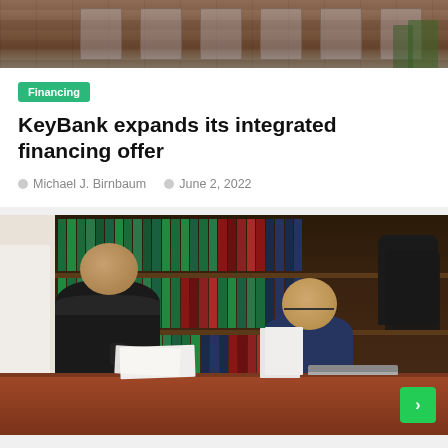[Figure (photo): Aerial or exterior photo of a brick building with trees in background]
Financing
KeyBank expands its integrated financing offer
Michael J. Birnbaum   June 2, 2022
[Figure (photo): Two men sitting across a desk in an office with bookshelves full of law books in the background. The man facing away is bald and wearing black. The other man is wearing glasses and a navy polo shirt. There is a laptop and papers on the desk.]